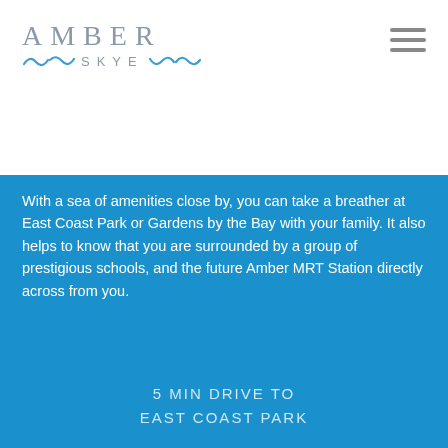[Figure (logo): Amber Skye logo with stylized wave/seagull motifs in blue and grey text]
With a sea of amenities close by, you can take a breather at East Coast Park or Gardens by the Bay with your family. It also helps to know that you are surrounded by a group of prestigious schools, and the future Amber MRT Station directly across from you.
5 MIN DRIVE TO
EAST COAST PARK